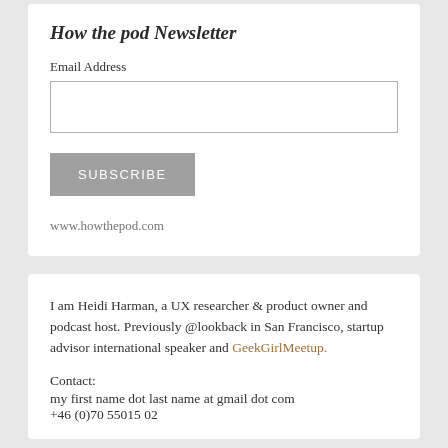How the pod Newsletter
Email Address
SUBSCRIBE
www.howthepod.com
I am Heidi Harman, a UX researcher & product owner and podcast host. Previously @lookback in San Francisco, startup advisor international speaker and GeekGirlMeetup.
Contact:
my first name dot last name at gmail dot com
+46 (0)70 55015 02